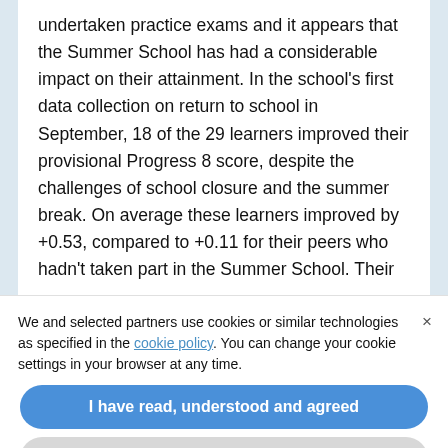undertaken practice exams and it appears that the Summer School has had a considerable impact on their attainment. In the school's first data collection on return to school in September, 18 of the 29 learners improved their provisional Progress 8 score, despite the challenges of school closure and the summer break. On average these learners improved by +0.53, compared to +0.11 for their peers who hadn't taken part in the Summer School. Their
We and selected partners use cookies or similar technologies as specified in the cookie policy. You can change your cookie settings in your browser at any time.
I have read, understood and agreed
Learn more